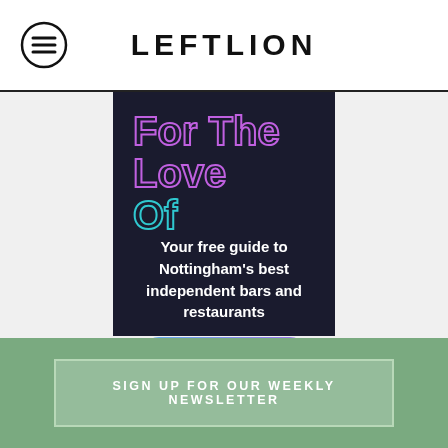LEFTLION
[Figure (illustration): Dark navy card advertisement with neon outlined text reading 'For The Love Of' (purple/teal neon colors), followed by white bold text 'Your free guide to Nottingham's best independent bars and restaurants', and a gradient blue-to-purple pill button labeled 'Sign up now!']
SIGN UP FOR OUR WEEKLY NEWSLETTER